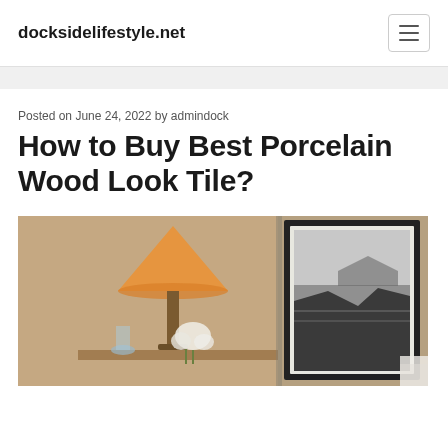docksidelifestyle.net
Posted on June 24, 2022 by admindock
How to Buy Best Porcelain Wood Look Tile?
[Figure (photo): Interior room scene showing a table lamp with orange shade on the left and a framed black-and-white coastal landscape photograph on the right, set against a warm beige/tan wall]